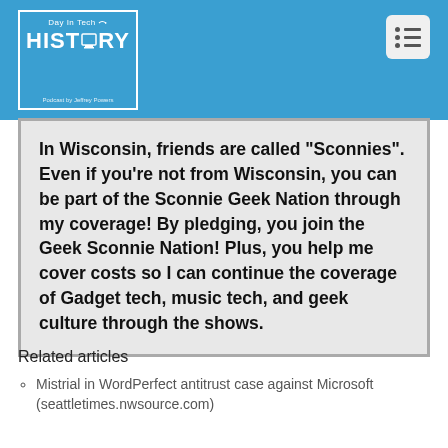[Figure (logo): Day in Tech HISTORY podcast logo — white border box on blue background with monitor icon and 'Podcast by Jeffrey Powers' text]
In Wisconsin, friends are called "Sconnies". Even if you're not from Wisconsin, you can be part of the Sconnie Geek Nation through my coverage! By pledging, you join the Geek Sconnie Nation! Plus, you help me cover costs so I can continue the coverage of Gadget tech, music tech, and geek culture through the shows.
Related articles
Mistrial in WordPerfect antitrust case against Microsoft (seattletimes.nwsource.com)